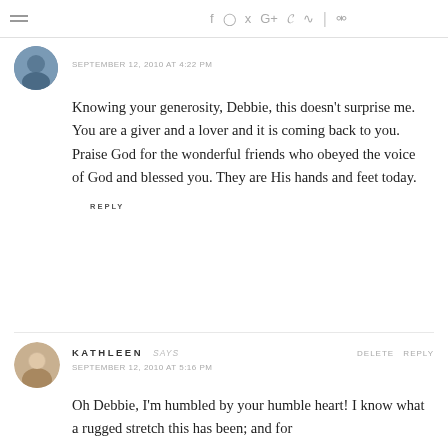≡  f  instagram  twitter  G+  p  rss  |  search
SEPTEMBER 12, 2010 AT 4:22 PM
Knowing your generosity, Debbie, this doesn't surprise me. You are a giver and a lover and it is coming back to you. Praise God for the wonderful friends who obeyed the voice of God and blessed you. They are His hands and feet today.
REPLY
KATHLEEN SAYS   DELETE REPLY
SEPTEMBER 12, 2010 AT 5:16 PM
Oh Debbie, I'm humbled by your humble heart! I know what a rugged stretch this has been; and for